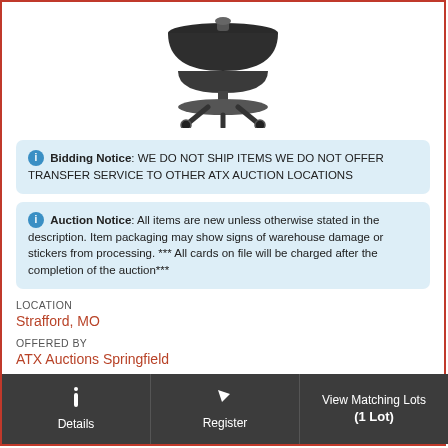[Figure (photo): Product photo of a grill/BBQ on a wheeled cart stand, black metal frame, partially cropped at top]
Bidding Notice: WE DO NOT SHIP ITEMS WE DO NOT OFFER TRANSFER SERVICE TO OTHER ATX AUCTION LOCATIONS
Auction Notice: All items are new unless otherwise stated in the description. Item packaging may show signs of warehouse damage or stickers from processing. *** All cards on file will be charged after the completion of the auction***
LOCATION
Strafford, MO
OFFERED BY
ATX Auctions Springfield
Details
Register
View Matching Lots (1 Lot)